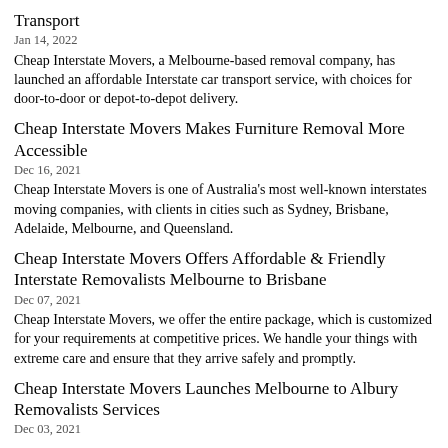Transport
Jan 14, 2022
Cheap Interstate Movers, a Melbourne-based removal company, has launched an affordable Interstate car transport service, with choices for door-to-door or depot-to-depot delivery.
Cheap Interstate Movers Makes Furniture Removal More Accessible
Dec 16, 2021
Cheap Interstate Movers is one of Australia's most well-known interstates moving companies, with clients in cities such as Sydney, Brisbane, Adelaide, Melbourne, and Queensland.
Cheap Interstate Movers Offers Affordable & Friendly Interstate Removalists Melbourne to Brisbane
Dec 07, 2021
Cheap Interstate Movers, we offer the entire package, which is customized for your requirements at competitive prices. We handle your things with extreme care and ensure that they arrive safely and promptly.
Cheap Interstate Movers Launches Melbourne to Albury Removalists Services
Dec 03, 2021